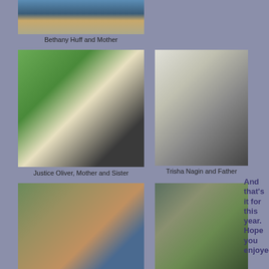[Figure (photo): Photo of Bethany Huff and Mother, partial view at top of page]
Bethany Huff and Mother
[Figure (photo): Photo of Justice Oliver, Mother and Sister standing in front of a green wall]
Justice Oliver, Mother and Sister
[Figure (photo): Photo of Trisha Nagin and Father in front of a shop]
Trisha Nagin and Father
[Figure (photo): Photo of a family group with grandmother, parents, and children at an indoor venue]
[Figure (photo): Photo of a father with three children outdoors]
And that's it for this year. Hope you enjoyed